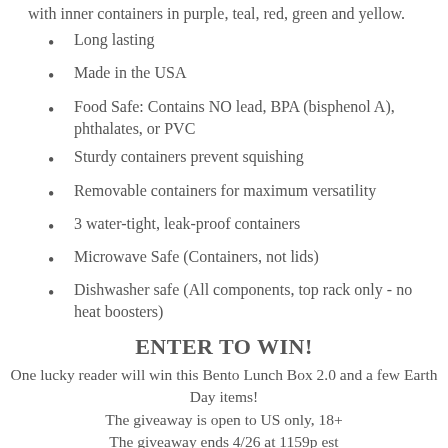with inner containers in purple, teal, red, green and yellow.
Long lasting
Made in the USA
Food Safe: Contains NO lead, BPA (bisphenol A), phthalates, or PVC
Sturdy containers prevent squishing
Removable containers for maximum versatility
3 water-tight, leak-proof containers
Microwave Safe (Containers, not lids)
Dishwasher safe (All components, top rack only - no heat boosters)
ENTER TO WIN!
One lucky reader will win this Bento Lunch Box 2.0 and a few Earth Day items!
The giveaway is open to US only, 18+
The giveaway ends 4/26 at 1159p est